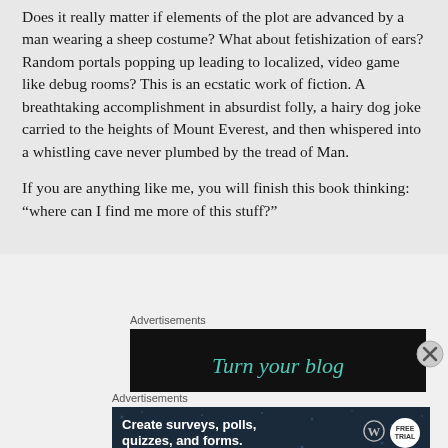Does it really matter if elements of the plot are advanced by a man wearing a sheep costume? What about fetishization of ears? Random portals popping up leading to localized, video game like debug rooms? This is an ecstatic work of fiction. A breathtaking accomplishment in absurdist folly, a hairy dog joke carried to the heights of Mount Everest, and then whispered into a whistling cave never plumbed by the tread of Man.
If you are anything like me, you will finish this book thinking: “where can I find me more of this stuff?”
Advertisements
[Figure (other): Advertisement banner with dark background showing 'Turn your blog' in teal italic text]
Advertisements
[Figure (other): Advertisement banner with dark navy background showing WordPress logo and survey badge, text: Create surveys, polls, quizzes, and forms.]